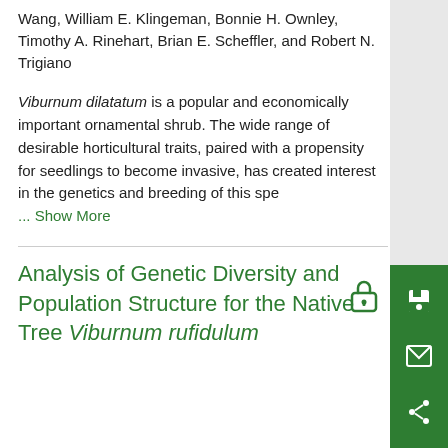Wang, William E. Klingeman, Bonnie H. Ownley, Timothy A. Rinehart, Brian E. Scheffler, and Robert N. Trigiano
Viburnum dilatatum is a popular and economically important ornamental shrub. The wide range of desirable horticultural traits, paired with a propensity for seedlings to become invasive, has created interest in the genetics and breeding of this spe ... Show More
Analysis of Genetic Diversity and Population Structure for the Native Tree Viburnum rufidulum